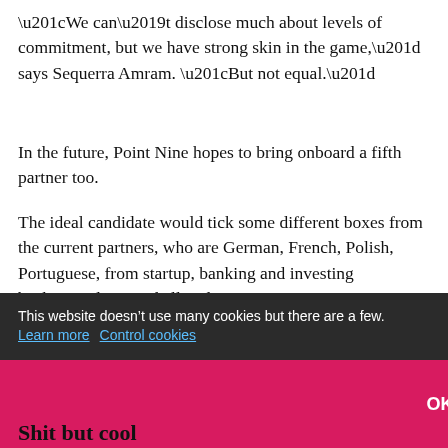“We can’t disclose much about levels of commitment, but we have strong skin in the game,” says Sequerra Amram. “But not equal.”
In the future, Point Nine hopes to bring onboard a fifth partner too.
The ideal candidate would tick some different boxes from the current partners, who are German, French, Polish, Portuguese, from startup, banking and investing backgrounds — and all male.
“We’re trying to increase the level of diversity, so having a female partner would be important, and also someone
tters
This website doesn’t use many cookies but there are a few. Learn more  Control cookies
OK
Shit but cool